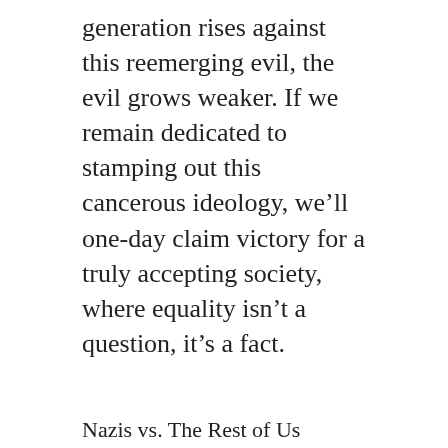generation rises against this reemerging evil, the evil grows weaker. If we remain dedicated to stamping out this cancerous ideology, we’ll one-day claim victory for a truly accepting society, where equality isn’t a question, it’s a fact.
Nazis vs. The Rest of Us
thesocialclimateblog / August 16, 2017 / Opinion, Politics, Social, Trump, Uncategorized / Opinion, Politics, Race, Society, Trump / Leave a comment
Has This Election Made